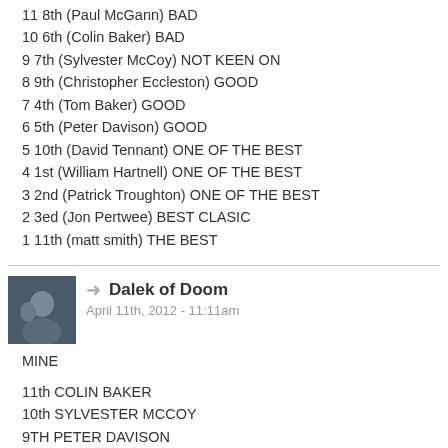11 8th (Paul McGann) BAD
10 6th (Colin Baker) BAD
9 7th (Sylvester McCoy) NOT KEEN ON
8 9th (Christopher Eccleston) GOOD
7 4th (Tom Baker) GOOD
6 5th (Peter Davison) GOOD
5 10th (David Tennant) ONE OF THE BEST
4 1st (William Hartnell) ONE OF THE BEST
3 2nd (Patrick Troughton) ONE OF THE BEST
2 3ed (Jon Pertwee) BEST CLASIC
1 11th (matt smith) THE BEST
Dalek of Doom
April 11th, 2012 - 11:11am
MINE
11th COLIN BAKER
10th SYLVESTER MCCOY
9TH PETER DAVISON
8TH PAUL MCGANN
7TH JON PERTWEE
6TH PATRICK TROUGHTON
5TH WILLIAM HARTNELL
4TH TOM BAKER